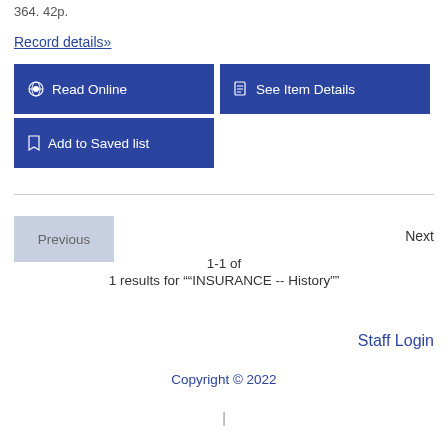364. 42p.
Record details»
Read Online
See Item Details
Add to Saved list
Previous
Next
1-1 of
1 results for ""INSURANCE -- History""
Staff Login
Copyright © 2022
|